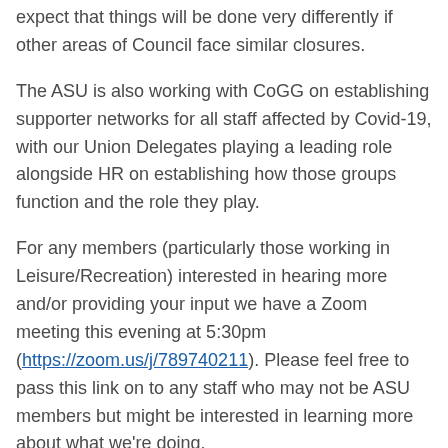expect that things will be done very differently if other areas of Council face similar closures.
The ASU is also working with CoGG on establishing supporter networks for all staff affected by Covid-19, with our Union Delegates playing a leading role alongside HR on establishing how those groups function and the role they play.
For any members (particularly those working in Leisure/Recreation) interested in hearing more and/or providing your input we have a Zoom meeting this evening at 5:30pm (https://zoom.us/j/789740211). Please feel free to pass this link on to any staff who may not be ASU members but might be interested in learning more about what we're doing.
If you won't be able to join the meeting have a